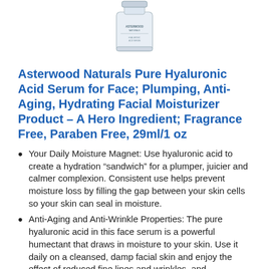[Figure (photo): Product photo of Asterwood Naturals Pure Hyaluronic Acid Serum bottle, partially visible at top of page]
Asterwood Naturals Pure Hyaluronic Acid Serum for Face; Plumping, Anti-Aging, Hydrating Facial Moisturizer Product – A Hero Ingredient; Fragrance Free, Paraben Free, 29ml/1 oz
Your Daily Moisture Magnet: Use hyaluronic acid to create a hydration “sandwich” for a plumper, juicier and calmer complexion. Consistent use helps prevent moisture loss by filling the gap between your skin cells so your skin can seal in moisture.
Anti-Aging and Anti-Wrinkle Properties: The pure hyaluronic acid in this face serum is a powerful humectant that draws in moisture to your skin. Use it daily on a cleansed, damp facial skin and enjoy the effect of reduced fine lines and wrinkles, and